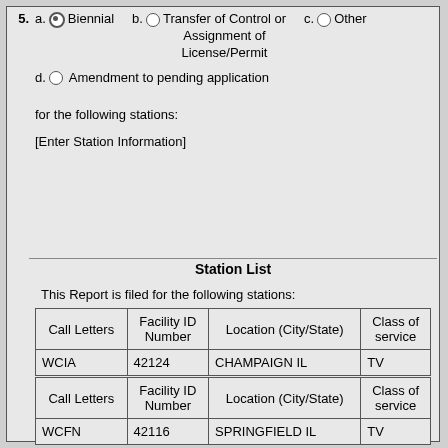5. a. ● Biennial   b. ○ Transfer of Control or Assignment of License/Permit   c. ○ Other
d. ○ Amendment to pending application
for the following stations:
[Enter Station Information]
Station List
This Report is filed for the following stations:
| Call Letters | Facility ID Number | Location (City/State) | Class of service |
| --- | --- | --- | --- |
| WCIA | 42124 | CHAMPAIGN IL | TV |
| Call Letters | Facility ID Number | Location (City/State) | Class of service |
| --- | --- | --- | --- |
| WCFN | 42116 | SPRINGFIELD IL | TV |